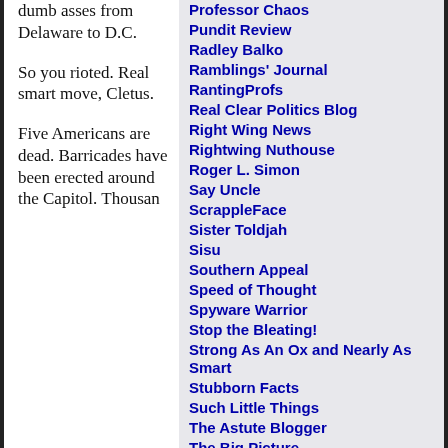dumb asses from Delaware to D.C.
So you rioted. Real smart move, Cletus.
Five Americans are dead. Barricades have been erected around the Capitol. Thousan
Professor Chaos
Pundit Review
Radley Balko
Ramblings' Journal
RantingProfs
Real Clear Politics Blog
Right Wing News
Rightwing Nuthouse
Roger L. Simon
Say Uncle
ScrappleFace
Sister Toldjah
Sisu
Southern Appeal
Speed of Thought
Spyware Warrior
Stop the Bleating!
Strong As An Ox and Nearly As Smart
Stubborn Facts
Such Little Things
The Astute Blogger
The Big Picture
The Buck Stops Here
The Dialectizer
The Hotline
The Iconic Midwesterner
The Movie Court
The National Debate
The Onion
The Shape of Days
The Spoons Experience
The Unalienable Right
The View from the Nest